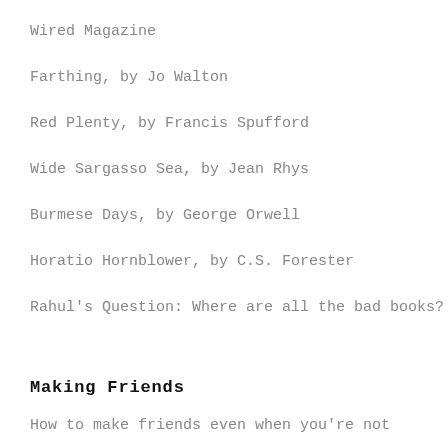Wired Magazine
Farthing, by Jo Walton
Red Plenty, by Francis Spufford
Wide Sargasso Sea, by Jean Rhys
Burmese Days, by George Orwell
Horatio Hornblower, by C.S. Forester
Rahul's Question: Where are all the bad books?
Making Friends
How to make friends even when you're not